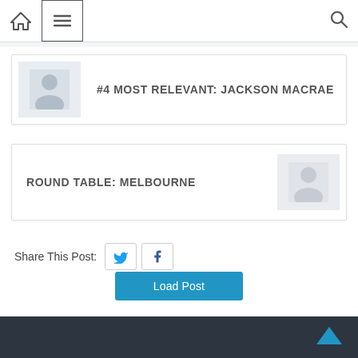[Figure (screenshot): Website navigation bar with home icon, hamburger menu icon in bordered box, and search icon]
[Figure (screenshot): Card with placeholder image on left and bold text '#4 MOST RELEVANT: JACKSON MACRAE']
#4 MOST RELEVANT: JACKSON MACRAE
[Figure (screenshot): Card with bold text 'ROUND TABLE: MELBOURNE' and placeholder image on right]
ROUND TABLE: MELBOURNE
Share This Post:
Load Post